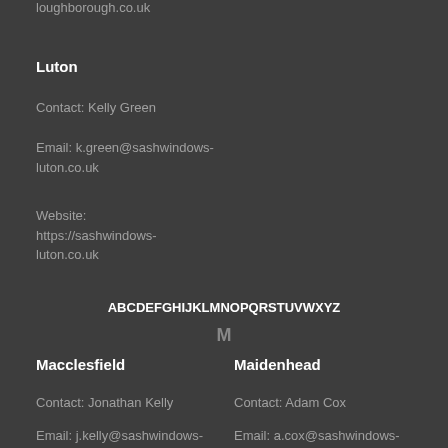loughborough.co.uk
Luton
Contact: Kelly Green
Email: k.green@sashwindows-luton.co.uk
Website: https://sashwindows-luton.co.uk
ABCDEFGHIJKLMNOPQRSTUVWXYZ
M
Macclesfield
Maidenhead
Contact: Jonathan Kelly
Contact: Adam Cox
Email: j.kelly@sashwindows-
Email: a.cox@sashwindows-